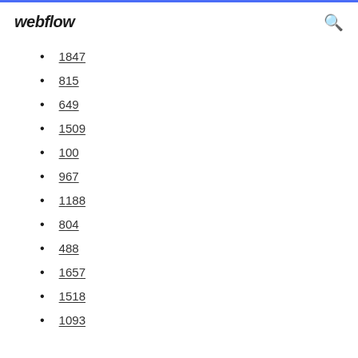webflow
1847
815
649
1509
100
967
1188
804
488
1657
1518
1093